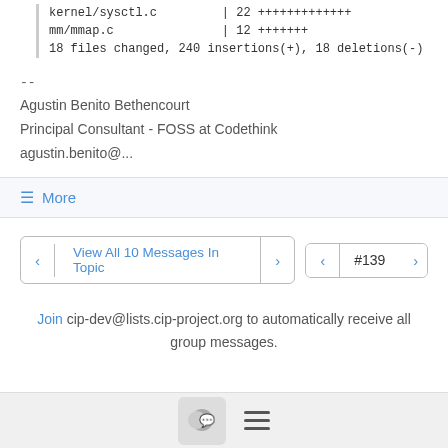kernel/sysctl.c | 22 ++++++++++++ mm/mmap.c | 12 +++++++ 18 files changed, 240 insertions(+), 18 deletions(-)
--
Agustin Benito Bethencourt
Principal Consultant - FOSS at Codethink
agustin.benito@...
≡ More
View All 10 Messages In Topic
#139
Join cip-dev@lists.cip-project.org to automatically receive all group messages.
[Figure (screenshot): Bottom navigation bar with chat bubble icon and hamburger menu icon]